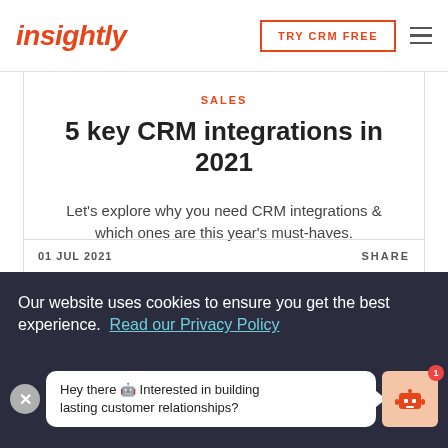insightly
TRY CRM FREE
SALES
5 key CRM integrations in 2021
Let's explore why you need CRM integrations & which ones are this year's must-haves.
01 JUL 2021
SHARE
Our website uses cookies to ensure you get the best experience.  Read our Privacy Policy
Hey there 🤖 Interested in building lasting customer relationships?